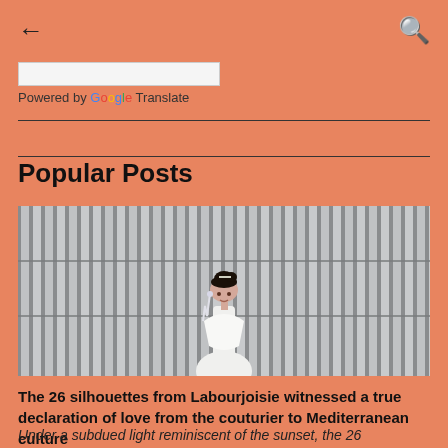← (back) | (search)
Powered by Google Translate
Popular Posts
[Figure (photo): A woman with dark hair in an updo wearing a white dress and large crystal earrings, standing in front of corrugated metal panels/shutters, photographed outdoors with trees visible in the background.]
The 26 silhouettes from Labourjoisie witnessed a true declaration of love from the couturier to Mediterranean culture
Under a subdued light reminiscent of the sunset, the 26